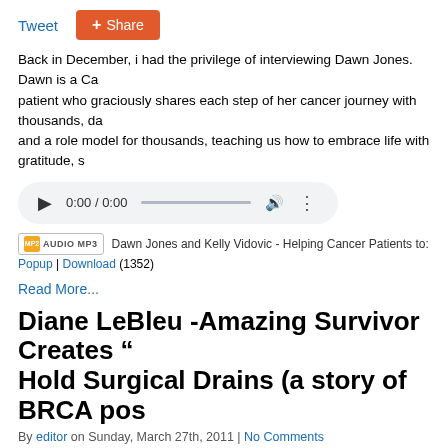Tweet  Share
Back in December, i had the privilege of interviewing Dawn Jones. Dawn is a Cancer patient who graciously shares each step of her cancer journey with thousands, da and a role model for thousands, teaching us how to embrace life with gratitude, s
[Figure (other): Audio player widget showing 0:00 / 0:00 with play button, progress bar, volume and more options]
Dawn Jones and Kelly Vidovic - Helping Cancer Patients to: &quot;Live, Love, and Wa
Popup | Download (1352)
Read More...
Diane LeBleu -Amazing Survivor Creates “ Hold Surgical Drains (a story of BRCA pos
By editor on Sunday, March 27th, 2011 | No Comments
Tweet  Share
Diane LeBleu is a recent breast cancer patient/now survivor, having been diagno 39. Her diagnosis of Stage 2 Invasive Breast Cancer was just 6 years after her tw the same and 3 years after her aunt died of a breast cancer reoccurence at [...]